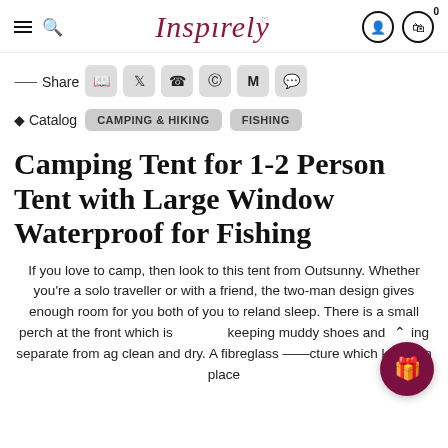Inspırely — navigation bar with hamburger, search, logo, account, cart icons
Share
Catalog  CAMPING & HIKING  FISHING
Camping Tent for 1-2 Person Tent with Large Window Waterproof for Fishing
If you love to camp, then look to this tent from Outsunny. Whether you're a solo traveller or with a friend, the two-man design gives enough room for you both of you to relax and sleep. There is a small perch at the front which is keeping muddy shoes and ing separate from a g clean and dry. A fibreglass cture which keeps in place